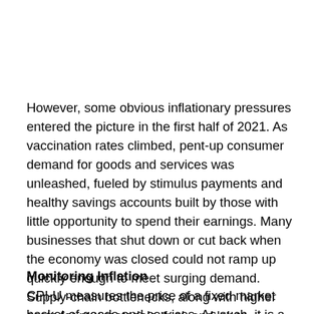However, some obvious inflationary pressures entered the picture in the first half of 2021. As vaccination rates climbed, pent-up consumer demand for goods and services was unleashed, fueled by stimulus payments and healthy savings accounts built by those with little opportunity to spend their earnings. Many businesses that shut down or cut back when the economy was closed could not ramp up quickly enough to meet surging demand. Supply-chain bottlenecks, along with higher costs for raw materials, fuel, and labor, resulted in some troubling price spikes.²
Monitoring Inflation
CPI-U measures the price of a fixed market basket of goods and services. As such, it is a good measure of